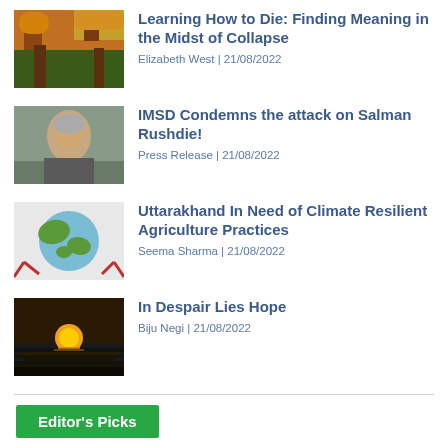Learning How to Die: Finding Meaning in the Midst of Collapse | Elizabeth West | 21/08/2022
IMSD Condemns the attack on Salman Rushdie! | Press Release | 21/08/2022
Uttarakhand In Need of Climate Resilient Agriculture Practices | Seema Sharma | 21/08/2022
In Despair Lies Hope | Biju Negi | 21/08/2022
Editor's Picks